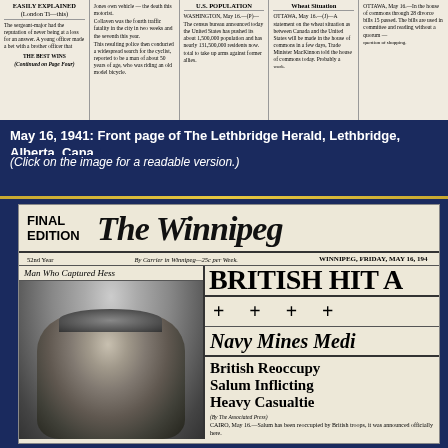[Figure (photo): Scanned top strip of a newspaper page showing multiple columns of small text articles including stories about traffic fatalities, U.S. population census, and wheat situation from May 1941.]
May 16, 1941: Front page of The Lethbridge Herald, Lethbridge, Alberta, Canada.
(Click on the image for a readable version.)
[Figure (photo): Front page of The Winnipeg Tribune newspaper, May 16, 1941. Shows masthead reading 'The Winnipeg' with FINAL EDITION on left. Below: headline 'Man Who Captured Hess' with a photo of a man in a flat cap and coat outdoors. Large banner headline reads 'BRITISH HIT A...' with subhead 'Navy Mines Medi...' and story 'British Reoccupy Salum Inflicting Heavy Casualties' with dateline from Cairo about British forces.]